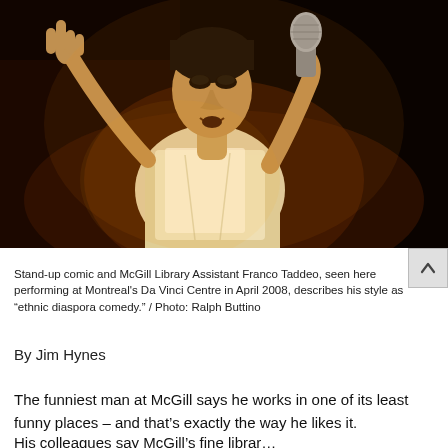[Figure (photo): Stand-up comic Franco Taddeo performing on stage, wearing a white shirt, holding a microphone close to his mouth and pointing with his other hand, under dramatic stage lighting against a dark background.]
Stand-up comic and McGill Library Assistant Franco Taddeo, seen here performing at Montreal's Da Vinci Centre in April 2008, describes his style as “ethnic diaspora comedy.” / Photo: Ralph Buttino
By Jim Hynes
The funniest man at McGill says he works in one of its least funny places – and that’s exactly the way he likes it.
His colleagues say McGill’s fine library’s shelves are home to...